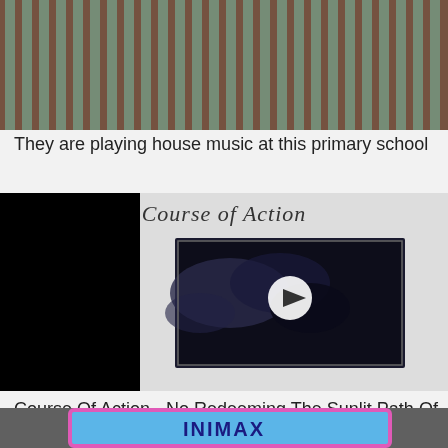[Figure (photo): Close-up photo of metal gate/fence bars with rust and green paint, viewed from above or at an angle]
They are playing house music at this primary school
[Figure (screenshot): Video thumbnail showing album artwork for 'Course Of Action' with cursive text and a dark/cloudy image with a white play button overlay, black bars on sides]
Course Of Action - No Redeeming The Sunlit Path Of Bliss 1999
[Figure (photo): Bottom portion of another image showing colorful text/logo on a blue background, partially cut off]